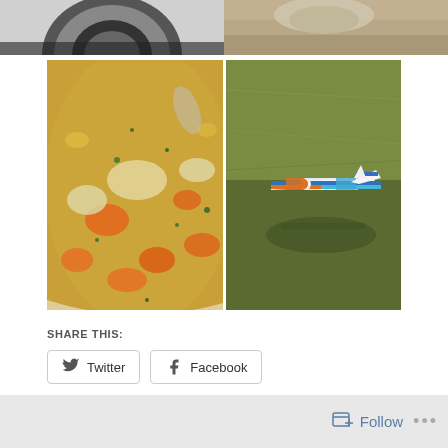[Figure (photo): Two images cropped at the top: left shows a dark circular object (camera lens or similar), right shows an animal on sandy ground]
[Figure (photo): Close-up photo of vegetable soup with carrots, cabbage, and herbs in broth]
[Figure (photo): Aerial view of a small RC airplane with orange, blue and white markings on a green grassy field, casting a shadow]
SHARE THIS:
Twitter
Facebook
Loading...
Follow